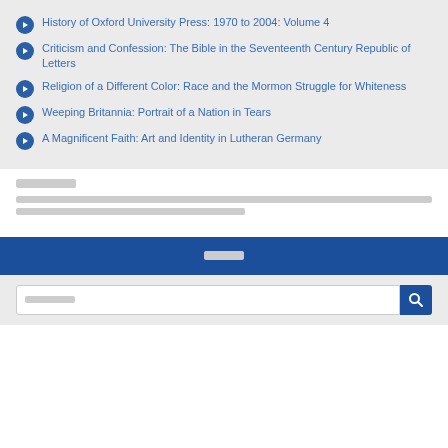History of Oxford University Press: 1970 to 2004: Volume 4
Criticism and Confession: The Bible in the Seventeenth Century Republic of Letters
Religion of a Different Color: Race and the Mormon Struggle for Whiteness
Weeping Britannia: Portrait of a Nation in Tears
A Magnificent Faith: Art and Identity in Lutheran Germany
[placeholder text block]
[placeholder search button]